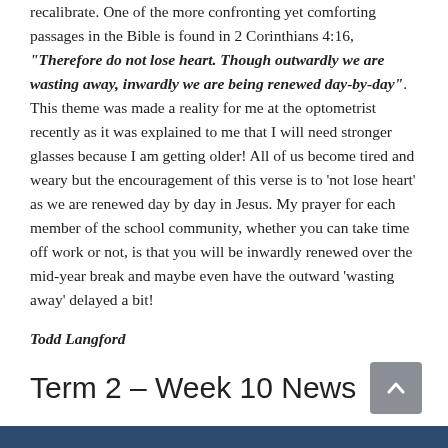recalibrate. One of the more confronting yet comforting passages in the Bible is found in 2 Corinthians 4:16, “Therefore do not lose heart. Though outwardly we are wasting away, inwardly we are being renewed day-by-day”. This theme was made a reality for me at the optometrist recently as it was explained to me that I will need stronger glasses because I am getting older! All of us become tired and weary but the encouragement of this verse is to ‘not lose heart’ as we are renewed day by day in Jesus. My prayer for each member of the school community, whether you can take time off work or not, is that you will be inwardly renewed over the mid-year break and maybe even have the outward ‘wasting away’ delayed a bit!
Todd Langford
Term 2 – Week 10 News